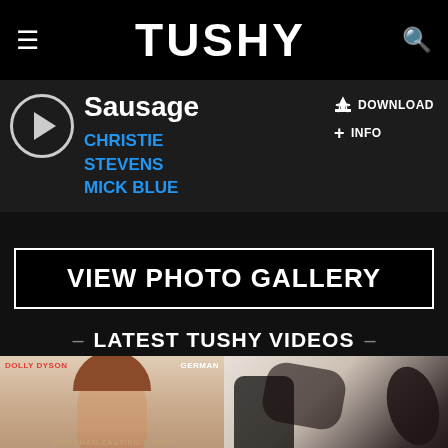TUSHY
Sausage
CHRISTIE STEVENS
MICK BLUE
DOWNLOAD
INFO
VIEW PHOTO GALLERY
LATEST TUSHY VIDEOS
[Figure (screenshot): Video thumbnail - Woodman casting screenshot with DOLLY DYSON label and GERMAN tag, woman smiling, watermark WOODMAN-CASTING-X.COM]
Woodma...
0
[Figure (screenshot): Video thumbnail - Manea Valenti scene thumbnail]
Manea Valenti...